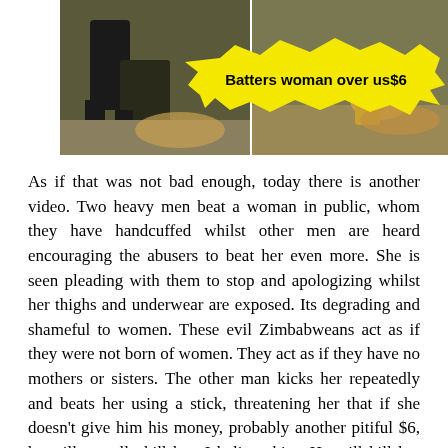[Figure (photo): A collage of video stills showing men beating a woman outdoors. A yellow jagged speech-bubble overlay reads 'Batters woman over us$6' in bold black text.]
As if that was not bad enough, today there is another video. Two heavy men beat a woman in public, whom they have handcuffed whilst other men are heard encouraging the abusers to beat her even more. She is seen pleading with them to stop and apologizing whilst her thighs and underwear are exposed. Its degrading and shameful to women. These evil Zimbabweans act as if they were not born of women. They act as if they have no mothers or sisters. The other man kicks her repeatedly and beats her using a stick, threatening her that if she doesn't give him his money, probably another pitiful $6, he will actually kill her. I believe him. He will kill her whilst other men watch and cheer. Whether the woman had stolen in the shop or not, there is no